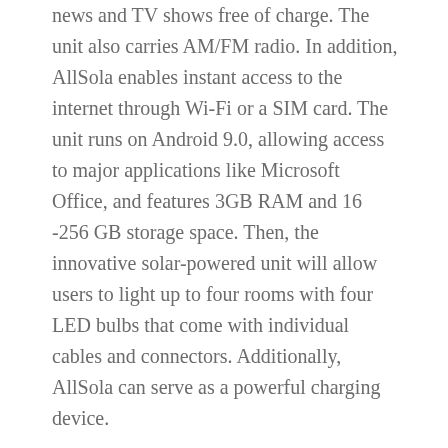news and TV shows free of charge. The unit also carries AM/FM radio. In addition, AllSola enables instant access to the internet through Wi-Fi or a SIM card. The unit runs on Android 9.0, allowing access to major applications like Microsoft Office, and features 3GB RAM and 16 -256 GB storage space. Then, the innovative solar-powered unit will allow users to light up to four rooms with four LED bulbs that come with individual cables and connectors. Additionally, AllSola can serve as a powerful charging device.
"It's unfortunate that around 70% of people